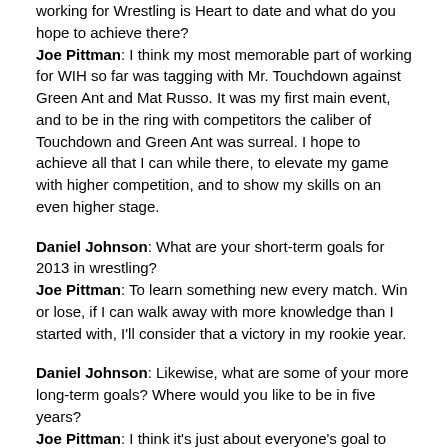working for Wrestling is Heart to date and what do you hope to achieve there?
Joe Pittman: I think my most memorable part of working for WIH so far was tagging with Mr. Touchdown against Green Ant and Mat Russo. It was my first main event, and to be in the ring with competitors the caliber of Touchdown and Green Ant was surreal. I hope to achieve all that I can while there, to elevate my game with higher competition, and to show my skills on an even higher stage.
Daniel Johnson: What are your short-term goals for 2013 in wrestling?
Joe Pittman: To learn something new every match. Win or lose, if I can walk away with more knowledge than I started with, I'll consider that a victory in my rookie year.
Daniel Johnson: Likewise, what are some of your more long-term goals? Where would you like to be in five years?
Joe Pittman: I think it's just about everyone's goal to make it to the WWE. In five years, I'd like to make that a reality.
Daniel Johnson: What is the weirdest part of being a pro wrestler?